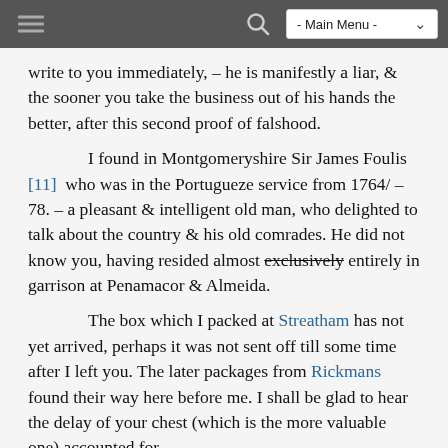- Main Menu -
write to you immediately, – he is manifestly a liar, & the sooner you take the business out of his hands the better, after this second proof of falshood.
I found in Montgomeryshire Sir James Foulis [11] who was in the Portugueze service from 1764/ – 78. – a pleasant & intelligent old man, who delighted to talk about the country & his old comrades. He did not know you, having resided almost exclusively entirely in garrison at Penamacor & Almeida.
The box which I packed at Streatham has not yet arrived, perhaps it was not sent off till some time after I left you. The later packages from Rickmans found their way here before me. I shall be glad to hear the delay of your chest (which is the more valuable one) accounted for.